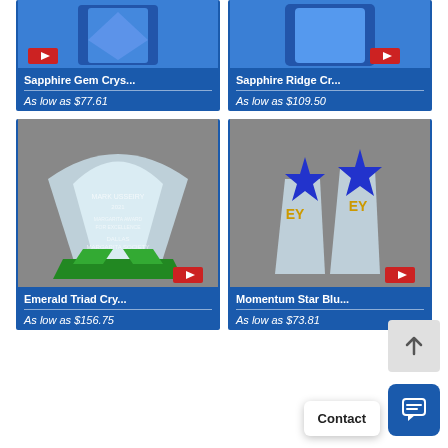[Figure (photo): Sapphire Gem Crystal award trophy product photo on blue background]
Sapphire Gem Crys...
As low as $77.61
[Figure (photo): Sapphire Ridge Crystal award trophy product photo on blue background]
Sapphire Ridge Cr...
As low as $109.50
[Figure (photo): Emerald Triad Crystal award trophy with green base, product photo]
Emerald Triad Cry...
As low as $156.75
[Figure (photo): Momentum Star Blue crystal award with blue star topper, product photo]
Momentum Star Blu...
As low as $73.81